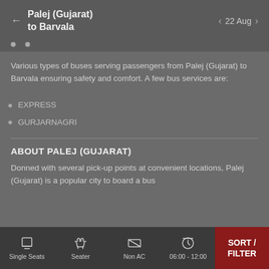Palej (Gujarat) to Barvala   22 Aug
Various types of buses serving passengers from Palej (Gujarat) to Barvala ensuring safety and comfort. A few bus services are:
EXPRESS
GURJARNAGRI
ABOUT PALEJ (GUJARAT)
Donned with several pick-up points at convenient locations, Palej (Gujarat) is a popular city to board a bus
Single Seats   Seater   Non AC   06:00 - 12:00   SORT / FILTER